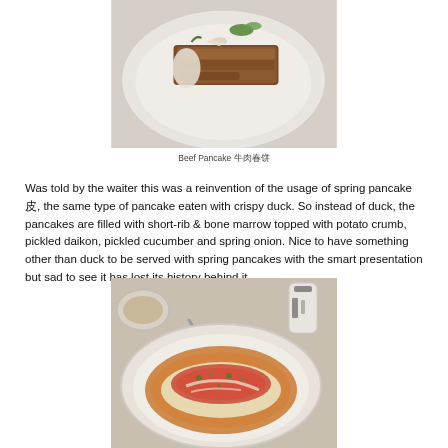[Figure (photo): Top-down view of Beef Pancake dish on a plate with garnish, pickled vegetables and short-rib filling]
Beef Pancake 牛肉春饼
Was told by the waiter this was a reinvention of the usage of spring pancake皮, the same type of pancake eaten with crispy duck. So instead of duck, the pancakes are filled with short-rib & bone marrow topped with potato crumb, pickled daikon, pickled cucumber and spring onion. Nice to have something other than duck to be served with spring pancakes with the smart presentation but sad to see it has lost its history behind it.
[Figure (photo): Top-down view of a second dish on a white plate with orange/tomato based sauce and garnish, with a spoon and condiment containers nearby]